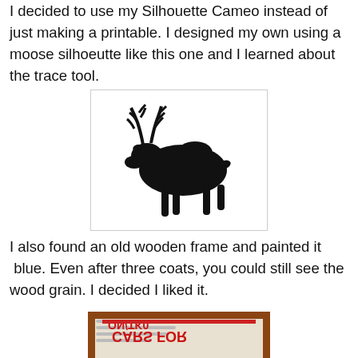I decided to use my Silhouette Cameo instead of just making a printable. I designed my own using a moose silhoeutte like this one and I learned about the trace tool.
[Figure (illustration): Black silhouette of a moose walking, facing left, with large antlers, on a white background with a light gray border.]
I also found an old wooden frame and painted it  blue. Even after three coats, you could still see the wood grain. I decided I liked it.
[Figure (photo): A wooden picture frame with a reddish-brown finish lying face down on newspaper. The newspaper shows text including 'CARS FOR' and other text, partially visible. A red stripe is visible along one edge of the frame.]